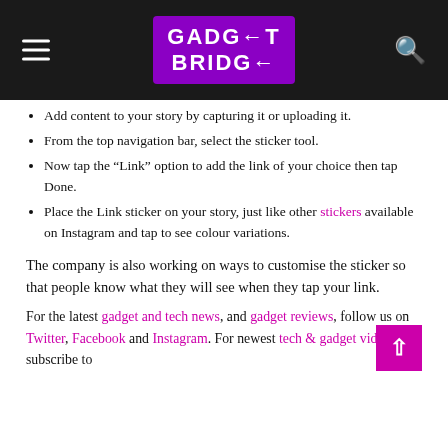GADGET BRIDGE
Add content to your story by capturing it or uploading it.
From the top navigation bar, select the sticker tool.
Now tap the “Link” option to add the link of your choice then tap Done.
Place the Link sticker on your story, just like other stickers available on Instagram and tap to see colour variations.
The company is also working on ways to customise the sticker so that people know what they will see when they tap your link.
For the latest gadget and tech news, and gadget reviews, follow us on Twitter, Facebook and Instagram. For newest tech & gadget videos subscribe to our YouTube Channel. You can also stay updated through the GadgetBridge App for Android.